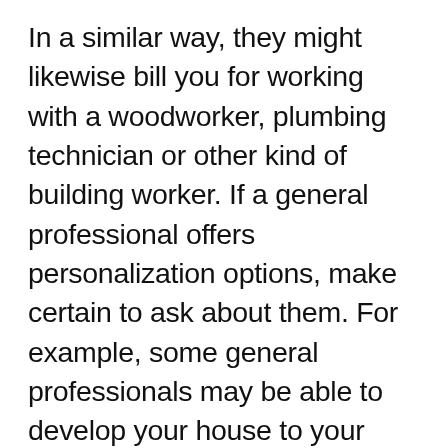In a similar way, they might likewise bill you for working with a woodworker, plumbing technician or other kind of building worker. If a general professional offers personalization options, make certain to ask about them. For example, some general professionals may be able to develop your house to your certain specs. If you take place to pick a design particularly, it can aid to have them bring up layouts for you to take into consideration. You may not understand this but design is among the most important things to think about when you are intending a house remodel. It can make or damage a new construction job. It is likewise important to take into consideration the top quality of the general contractor solutions that you pick. Ensure to find out what kind of training and